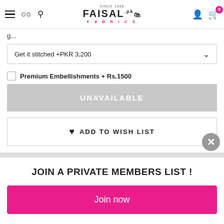Faisal Fabrics - navigation header with hamburger, search, logo, user icon, cart (0)
Get it stitched +PKR 3,200
Premium Embellishments + Rs.1500
UNAVAILABLE
♥ ADD TO WISH LIST
JOIN A PRIVATE MEMBERS LIST !
Join now